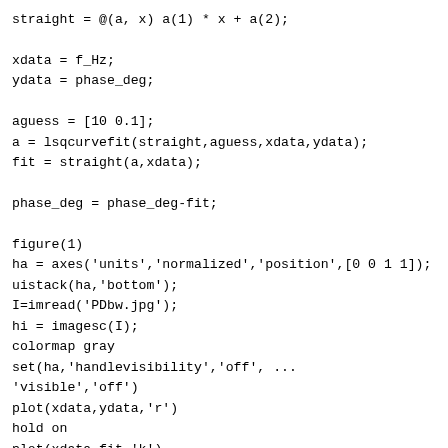straight = @(a, x) a(1) * x + a(2);

xdata = f_Hz;
ydata = phase_deg;

aguess = [10 0.1];
a = lsqcurvefit(straight,aguess,xdata,ydata);
fit = straight(a,xdata);

phase_deg = phase_deg-fit;

figure(1)
ha = axes('units','normalized','position',[0 0 1 1]);
uistack(ha,'bottom');
I=imread('PDbw.jpg');
hi = imagesc(I);
colormap gray
set(ha,'handlevisibility','off', ...
'visible','off')
plot(xdata,ydata,'r')
hold on
plot(xdata,fit,'k')
plot(xdata,phase_deg,'b')
hold off
ylabel('Phase/ degrees', 'FontSize',12)
xlabel('Frequency/ Hz', 'FontSize',12)
title('Removing the time delay','FontSize',16)
legend('data','fit','data-fit',0)
set(hi,'alphadata',.35)